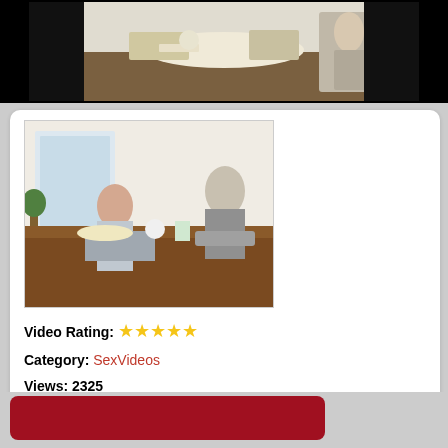[Figure (screenshot): Top banner showing a screenshot of a video — a woman at a kitchen table with items on it and a person seated on a couch in the background]
[Figure (screenshot): Thumbnail image of a video showing a woman leaning over a wooden table with food items and a person sitting in the background]
Video Rating: ★★★★★
Category: SexVideos
Views: 2325
Tags: milf japanese housewife momfuckboy boyfuckaunt sex milf japporn japanesesex asian fucking aunt family porn xxx video porno movie